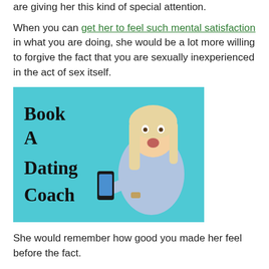are giving her this kind of special attention.
When you can get her to feel such mental satisfaction in what you are doing, she would be a lot more willing to forgive the fact that you are sexually inexperienced in the act of sex itself.
[Figure (illustration): Book A Dating Coach advertisement image showing a woman pointing excitedly at a phone on a teal background with the text 'Book A Dating Coach']
She would remember how good you made her feel before the fact.
She would start associating thoughts of you with feelings of passion and euphoria.